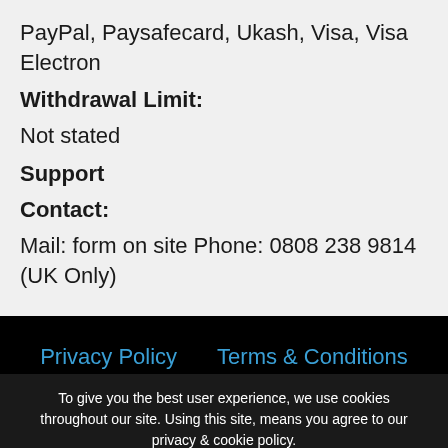PayPal, Paysafecard, Ukash, Visa, Visa Electron
Withdrawal Limit:
Not stated
Support
Contact:
Mail: form on site Phone: 0808 238 9814 (UK Only)
Privacy Policy   Terms & Conditions
To give you the best user experience, we use cookies throughout our site. Using this site, means you agree to our privacy & cookie policy.